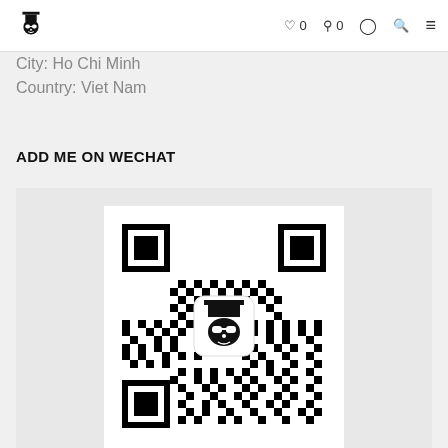Logo | ♡ 0  🛒 0  👤  🔍  ≡
City: Ho Chi Minh
Country: Viet Nam
ADD ME ON WECHAT
[Figure (other): WeChat QR code with a logo icon (man with hat and glasses) in the center]